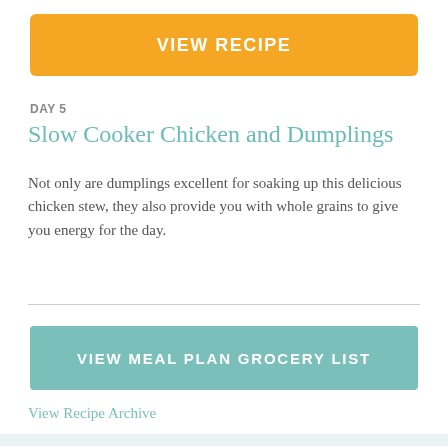[Figure (other): Orange button labeled VIEW RECIPE]
DAY 5
Slow Cooker Chicken and Dumplings
Not only are dumplings excellent for soaking up this delicious chicken stew, they also provide you with whole grains to give you energy for the day.
[Figure (other): Teal button labeled VIEW MEAL PLAN GROCERY LIST]
View Recipe Archive
Categories